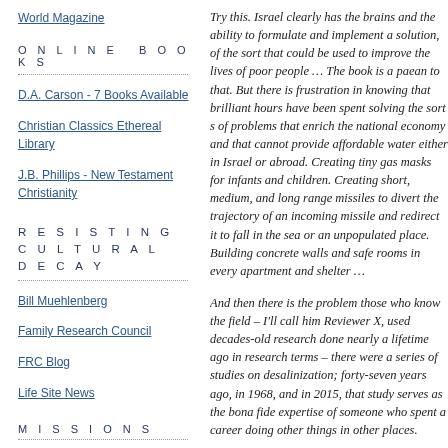World Magazine
ONLINE BOOKS
D.A. Carson - 7 Books Available
Christian Classics Ethereal Library
J.B. Phillips - New Testament Christianity
RESISTING CULTURAL DECAY
Bill Muehlenberg
Family Research Council
FRC Blog
Life Site News
MISSIONS
Try this. Israel clearly has the brains and the ability to formulate and implement a solution, of the sort that could be used to improve the lives of poor people … The book is a paean to that. But there is frustration in knowing that brilliant hours have been spent solving the sorts of problems that enrich the national economy and that cannot provide affordable water either in Israel or abroad. Creating tiny gas masks for infants and children. Creating short, medium, and long range missiles to divert the trajectory of an incoming missile and redirect it to fall in the sea or an unpopulated place. Building concrete walls and safe rooms in every apartment and shelter …
And then there is the problem those who know the field – I'll call him Reviewer X, used decades-old research done nearly a lifetime ago in research terms – there were a series of studies on desalinization; forty-seven years ago, in 1968, and in 2015, that study serves as the bona fide expertise of someone who spent a career doing other things in other places.
Reviewer X pokes. "Let There Be Water" cannot be taken seriously to assess some of its claims—like, for example, the assertion that desalination methods can provide affordable water. … desalination methods have yet to make sufficient water available in the Jordan Valley, where the cost of trans…